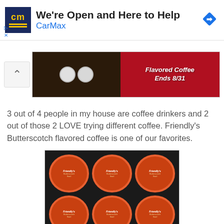[Figure (screenshot): CarMax advertisement banner with logo, headline 'We're Open and Here to Help', CarMax branding, and a blue diamond navigation icon]
[Figure (photo): Carousel image showing K-cup coffee pods on the left and a red promotional banner on the right reading 'Flavored Coffee Ends 8/31']
3 out of 4 people in my house are coffee drinkers and 2 out of those 2 LOVE trying different coffee. Friendly's Butterscotch flavored coffee is one of our favorites.
[Figure (photo): Six Friendly's Butterscotch Swirl flavored coffee K-cup pods arranged in a dark tray, showing orange circular lids with the Friendly's brand logo]